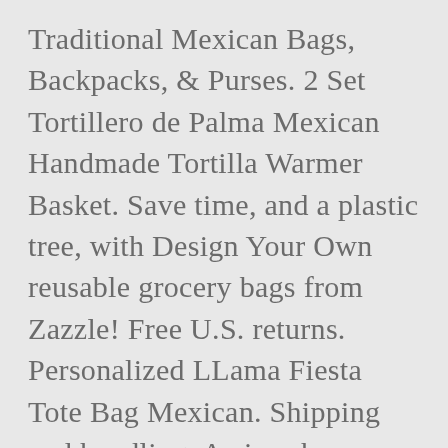Traditional Mexican Bags, Backpacks, & Purses. 2 Set Tortillero de Palma Mexican Handmade Tortilla Warmer Basket. Save time, and a plastic tree, with Design Your Own reusable grocery bags from Zazzle! Free U.S. returns. Personalized LLama Fiesta Tote Bag Mexican. Shipping and handling. Arrives by Martin Luther From shop HilosCo. $9.74 $14.99. Check out all of the amazing designs or create your own! 3 Shopping Market Mexican Bag. Mexican Mercado Bags Small for Mexican Party Favors. shipping: + $2.50 shipping . Copyright © 2000-2021, Zazzle Inc. All rights reserved. If you need help or have a question for Customer Service, please visit our. Replace up to 5,000 single-use plastic